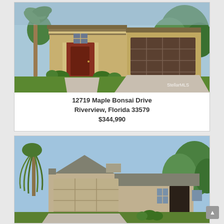[Figure (photo): Exterior rendering of a single-story home with tan/beige stucco, red front door, brown garage door, palm tree on left, lush green landscaping. StellarMLS watermark in top right.]
12719 Maple Bonsai Drive
Riverview, Florida 33579
$344,990
[Figure (photo): Exterior rendering of a single-story home with gray/tan stucco, gray shingle roof, beige garage door, surrounded by trees including a weeping willow on the left and palm trees on the right. Blue sky background.]